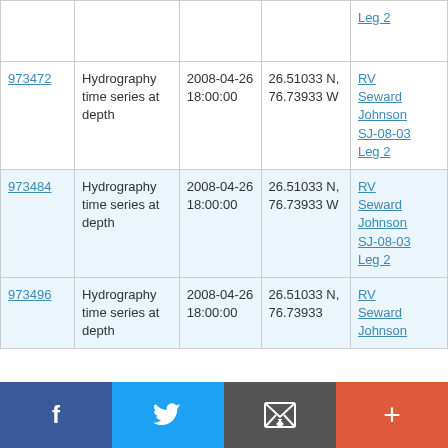| ID | Type | Date | Location | Cruise |
| --- | --- | --- | --- | --- |
|  |  |  |  | Leg 2 |
| 973472 | Hydrography time series at depth | 2008-04-26 18:00:00 | 26.51033 N, 76.73933 W | RV Seward Johnson SJ-08-03 Leg 2 |
| 973484 | Hydrography time series at depth | 2008-04-26 18:00:00 | 26.51033 N, 76.73933 W | RV Seward Johnson SJ-08-03 Leg 2 |
| 973496 | Hydrography time series at depth | 2008-04-26 18:00:00 | 26.51033 N, 76.73933 | RV Seward Johnson |